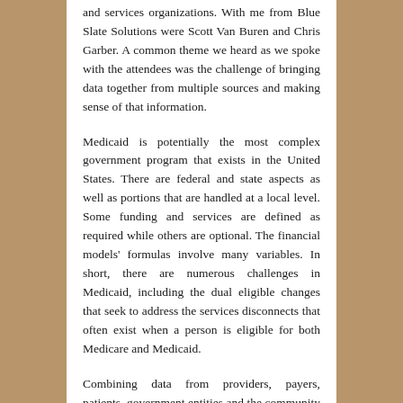and services organizations. With me from Blue Slate Solutions were Scott Van Buren and Chris Garber. A common theme we heard as we spoke with the attendees was the challenge of bringing data together from multiple sources and making sense of that information.
Medicaid is potentially the most complex government program that exists in the United States. There are federal and state aspects as well as portions that are handled at a local level. Some funding and services are defined as required while others are optional. The financial models' formulas involve many variables. In short, there are numerous challenges in Medicaid, including the dual eligible changes that seek to address the services disconnects that often exist when a person is eligible for both Medicare and Medicaid.
Combining data from providers, payers, patients, government entities and the community are all necessary in order to